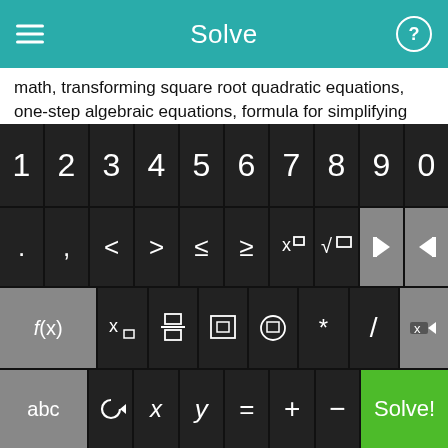Solve
math, transforming square root quadratic equations, one-step algebraic equations, formula for simplifying expressions, mix numbers.
Addison-wesley conceptual physics answer key, Factorise equations calculator, basic formula of permutation and combination, factor quadratic equations TI-84.
Free 6 Grade Math Problems, percentages work sheets+answer year 8, trigonometry problem sheet, nonlinear differential
[Figure (screenshot): A math solver app keyboard interface with number keys 1-0, symbol keys including < > ≤ ≥ x□ √□ and arrow keys, function keys f(x) x□ fraction absolute value placeholder * / backspace, and bottom row with abc rotate x y = + - and green Solve! button]